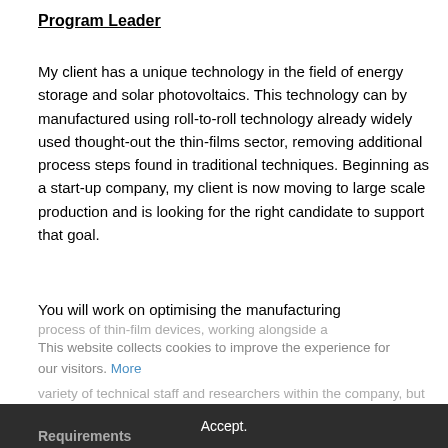Program Leader
My client has a unique technology in the field of energy storage and solar photovoltaics. This technology can by manufactured using roll-to-roll technology already widely used thought-out the thin-films sector, removing additional process steps found in traditional techniques. Beginning as a start-up company, my client is now moving to large scale production and is looking for the right candidate to support that goal.
You will work on optimising the manufacturing process of thin-film devices, working alongside a variety of technical staff and researchers within the company, but also with a variety of clients and suppliers externally.
This website collects cookies to improve the experience for our visitors. More
Accept.
Requirements